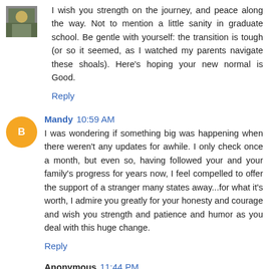I wish you strength on the journey, and peace along the way. Not to mention a little sanity in graduate school. Be gentle with yourself: the transition is tough (or so it seemed, as I watched my parents navigate these shoals). Here's hoping your new normal is Good.
Reply
Mandy 10:59 AM
I was wondering if something big was happening when there weren't any updates for awhile. I only check once a month, but even so, having followed your and your family's progress for years now, I feel compelled to offer the support of a stranger many states away...for what it's worth, I admire you greatly for your honesty and courage and wish you strength and patience and humor as you deal with this huge change.
Reply
Anonymous 11:44 PM